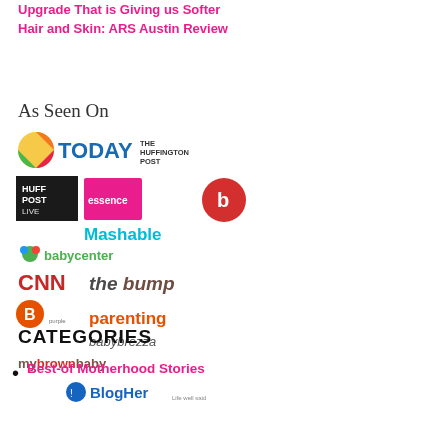Upgrade That is Giving us Softer Hair and Skin: ARS Austin Review
As Seen On
[Figure (logo): Collection of media logos: TODAY, The Huffington Post, Huff Post Live, Essence, Babble, Mashable, BabyCenter, CNN, The Bump, Babble (B icon), Parenting, Baby Brezza, My Brown Baby, BlogHer]
CATEGORIES
Best-of Motherhood Stories